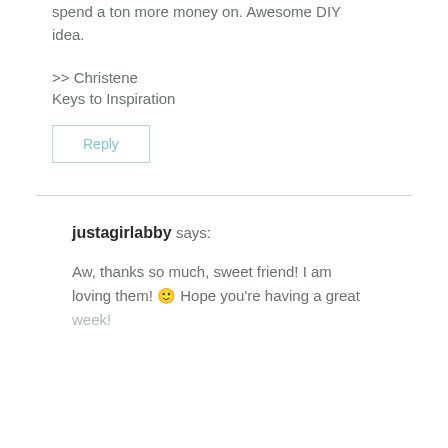spend a ton more money on. Awesome DIY idea.
>> Christene
Keys to Inspiration
Reply
justagirlabby says:
Aw, thanks so much, sweet friend! I am loving them! 🙂 Hope you're having a great week!